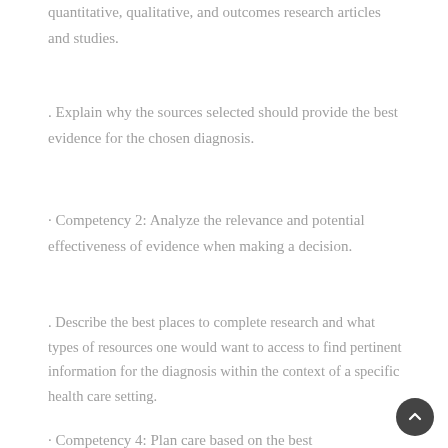quantitative, qualitative, and outcomes research articles and studies.
. Explain why the sources selected should provide the best evidence for the chosen diagnosis.
· Competency 2: Analyze the relevance and potential effectiveness of evidence when making a decision.
. Describe the best places to complete research and what types of resources one would want to access to find pertinent information for the diagnosis within the context of a specific health care setting.
· Competency 4: Plan care based on the best